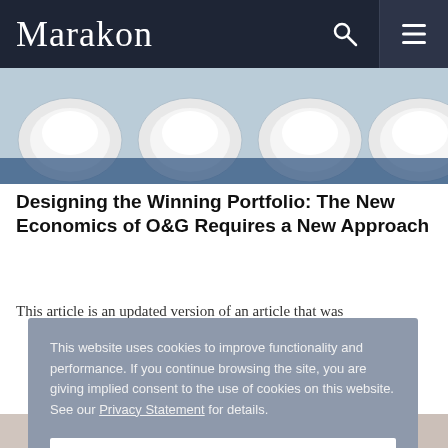Marakon
[Figure (photo): Photo of white cylindrical drums or containers with blue lids/caps arranged in a row, partial view from above]
Designing the Winning Portfolio: The New Economics of O&G Requires a New Approach
This article is an updated version of an article that was
This website uses cookies to improve functionality and performance. If you continue browsing the site, you are giving implied consent to the use of cookies on this website. See our Privacy Statement for details.
Close
[Figure (photo): Partial bottom image, cropped, showing an outdoor or people scene]